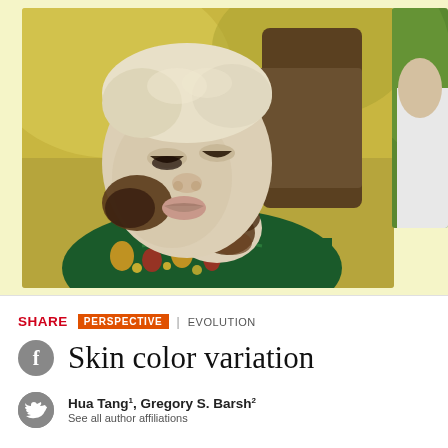[Figure (photo): Close-up photo of a person with albinism showing pale skin with dark melanin patches on the face and neck, wearing a colorful patterned shirt. Background is blurred green/outdoor.]
[Figure (photo): Partial side photo visible on the right edge showing a person in a white shirt with green blurred background.]
SHARE
PERSPECTIVE | EVOLUTION
Skin color variation
Hua Tang1, Gregory S. Barsh2
See all author affiliations